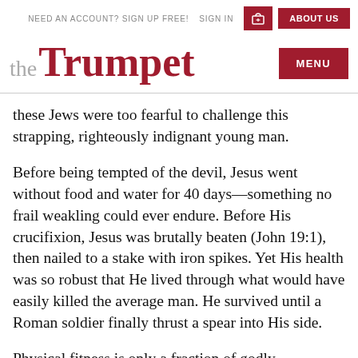NEED AN ACCOUNT? SIGN UP FREE!   SIGN IN   [cart]   ABOUT US
the Trumpet
these Jews were too fearful to challenge this strapping, righteously indignant young man.
Before being tempted of the devil, Jesus went without food and water for 40 days—something no frail weakling could ever endure. Before His crucifixion, Jesus was brutally beaten (John 19:1), then nailed to a stake with iron spikes. Yet His health was so robust that He lived through what would have easily killed the average man. He survived until a Roman soldier finally thrust a spear into His side.
Physical fitness is only a fraction of godly masculinity,